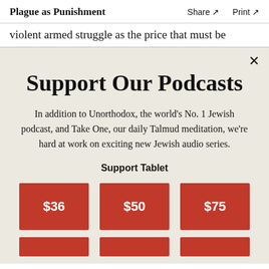Plague as Punishment   Share ↗   Print ↗
violent armed struggle as the price that must be
Support Our Podcasts
In addition to Unorthodox, the world's No. 1 Jewish podcast, and Take One, our daily Talmud meditation, we're hard at work on exciting new Jewish audio series.
Support Tablet
$36
$50
$75